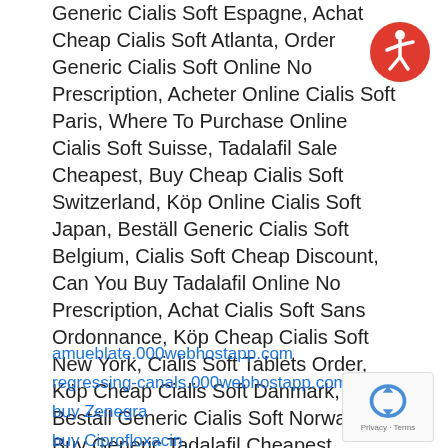Generic Cialis Soft Espagne, Achat Cheap Cialis Soft Atlanta, Order Generic Cialis Soft Online No Prescription, Acheter Online Cialis Soft Paris, Where To Purchase Online Cialis Soft Suisse, Tadalafil Sale Cheapest, Buy Cheap Cialis Soft Switzerland, Köp Online Cialis Soft Japan, Beställ Generic Cialis Soft Belgium, Cialis Soft Cheap Discount, Can You Buy Tadalafil Online No Prescription, Achat Cialis Soft Sans Ordonnance, Köp Cheap Cialis Soft New York, Cialis Soft Tablets Order, Köp Cheap Cialis Soft Danmark, Beställ Generic Cialis Soft Norway, Buy Generic Tadalafil Cheapest, Cheap Cialis Soft Generic Tadalafil, Buy Cheap Cialis Soft San Francisco
amueblate.000webhostapp.com
regressing-canals.000webhostapp.com
buy Zenegra
buy Ciprofloxacin